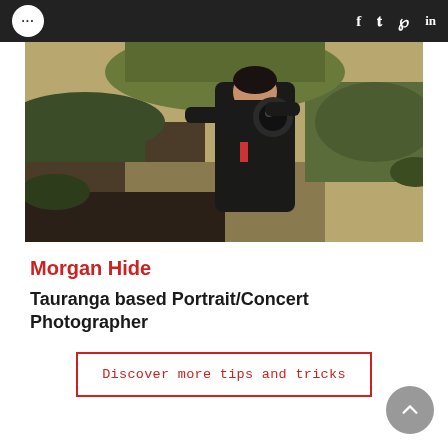... f t p in
[Figure (photo): A photographer crouching outdoors in a grassy/sandy area, holding a large camera up to their face, wearing dark clothing. Natural outdoor background with grass and sandy ground.]
Morgan Hide
Tauranga based Portrait/Concert Photographer
Discover more tips and tricks